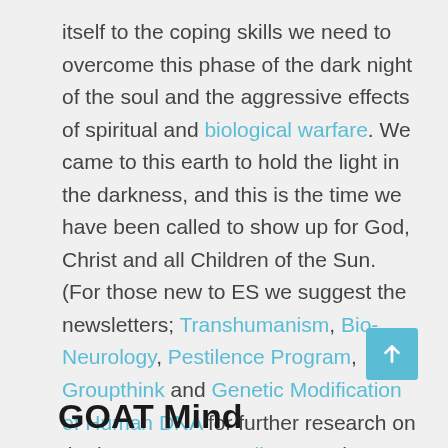itself to the coping skills we need to overcome this phase of the dark night of the soul and the aggressive effects of spiritual and biological warfare. We came to this earth to hold the light in the darkness, and this is the time we have been called to show up for God, Christ and all Children of the Sun. (For those new to ES we suggest the newsletters; Transhumanism, Bio-Neurology, Pestilence Program, Groupthink and Genetic Modification of Human DNA for further research on the long-term Controller agenda to hack the human bio-neurology for OWO global mind control and transhumanist purposes). [5]
GOAT Mind